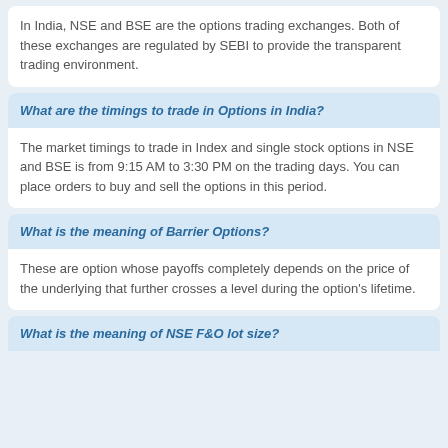In India, NSE and BSE are the options trading exchanges. Both of these exchanges are regulated by SEBI to provide the transparent trading environment.
What are the timings to trade in Options in India?
The market timings to trade in Index and single stock options in NSE and BSE is from 9:15 AM to 3:30 PM on the trading days. You can place orders to buy and sell the options in this period.
What is the meaning of Barrier Options?
These are option whose payoffs completely depends on the price of the underlying that further crosses a level during the option's lifetime.
What is the meaning of NSE F&O lot size?